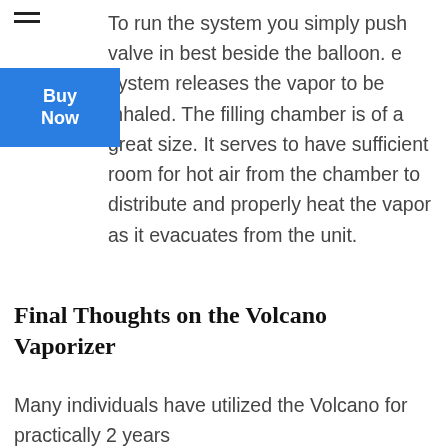To run the system you simply push valve in best beside the balloon. e system releases the vapor to be inhaled. The filling chamber is of a great size. It serves to have sufficient room for hot air from the chamber to distribute and properly heat the vapor as it evacuates from the unit.
Final Thoughts on the Volcano Vaporizer
Many individuals have utilized the Volcano for practically 2 years